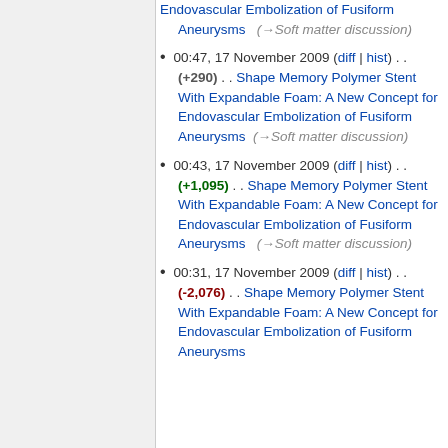Endovascular Embolization of Fusiform Aneurysms (→Soft matter discussion)
00:47, 17 November 2009 (diff | hist) . . (+290) . . Shape Memory Polymer Stent With Expandable Foam: A New Concept for Endovascular Embolization of Fusiform Aneurysms (→Soft matter discussion)
00:43, 17 November 2009 (diff | hist) . . (+1,095) . . Shape Memory Polymer Stent With Expandable Foam: A New Concept for Endovascular Embolization of Fusiform Aneurysms (→Soft matter discussion)
00:31, 17 November 2009 (diff | hist) . . (-2,076) . . Shape Memory Polymer Stent With Expandable Foam: A New Concept for Endovascular Embolization of Fusiform Aneurysms